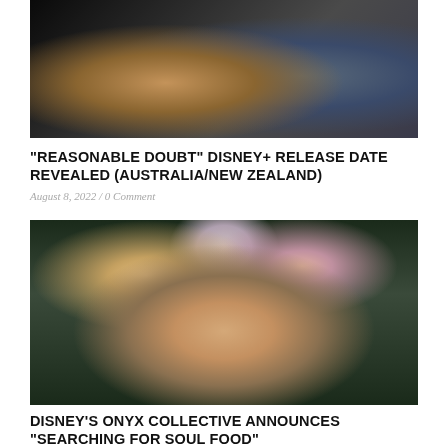[Figure (photo): Two women in professional attire standing together, one in a white blazer holding a folder, one in a dark striped outfit]
“REASONABLE DOUBT” DISNEY+ RELEASE DATE REVEALED (AUSTRALIA/NEW ZEALAND)
August 8, 2022 / 0 Comment
[Figure (photo): A woman with braided hair wrapped on her head, wearing a grey top, surrounded by colorful flowers in the background]
DISNEY’S ONYX COLLECTIVE ANNOUNCES “SEARCHING FOR SOUL FOOD”